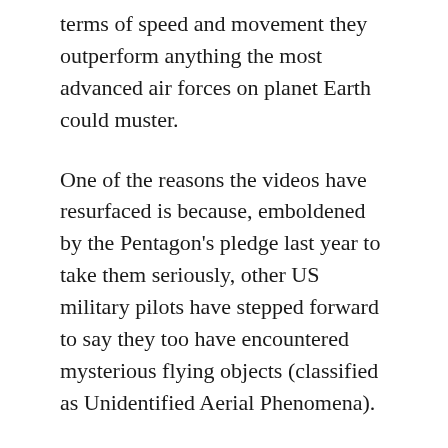terms of speed and movement they outperform anything the most advanced air forces on planet Earth could muster.
One of the reasons the videos have resurfaced is because, emboldened by the Pentagon's pledge last year to take them seriously, other US military pilots have stepped forward to say they too have encountered mysterious flying objects (classified as Unidentified Aerial Phenomena).
Pilots used to think if they reported an unexplained encounter they would be putting the tin lid on their careers. But now it seems there have been many more such incidents than anyone suspected.
Meanwhile this week China issued, and then hastily retracted, claims to have intercepted radio signals from “an alien civilisation”.